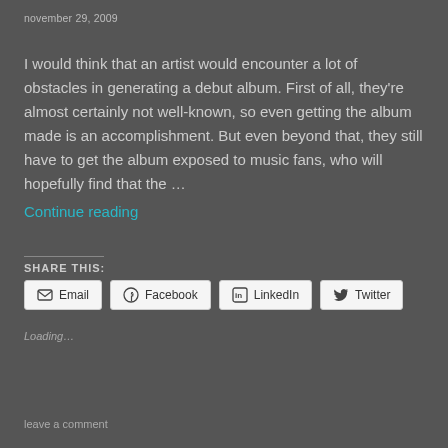november 29, 2009
I would think that an artist would encounter a lot of obstacles in generating a debut album. First of all, they’re almost certainly not well-known, so even getting the album made is an accomplishment. But even beyond that, they still have to get the album exposed to music fans, who will hopefully find that the …
Continue reading
SHARE THIS:
Email | Facebook | LinkedIn | Twitter
Loading…
leave a comment